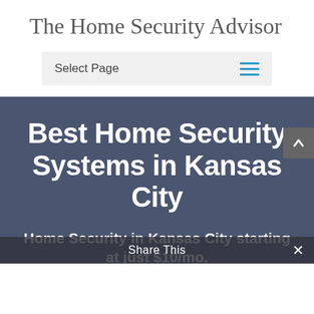The Home Security Advisor
Select Page
Best Home Security Systems in Kansas City
Home Security in Kansas City starting at just $10/mo.
Share This